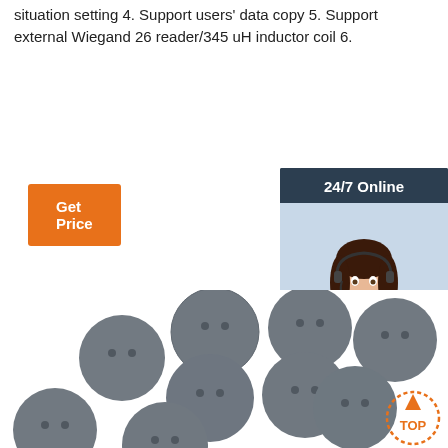situation setting 4. Support users' data copy 5. Support external Wiegand 26 reader/345 uH inductor coil 6.
[Figure (other): Orange 'Get Price' button]
[Figure (other): 24/7 Online customer service sidebar with photo of woman with headset, 'Click here for free chat!' text, and orange QUOTATION button]
[Figure (photo): Multiple gray circular RFID disc tokens/coins with two small holes each, arranged in a group on white background. Orange dotted 'TOP' badge in lower right.]